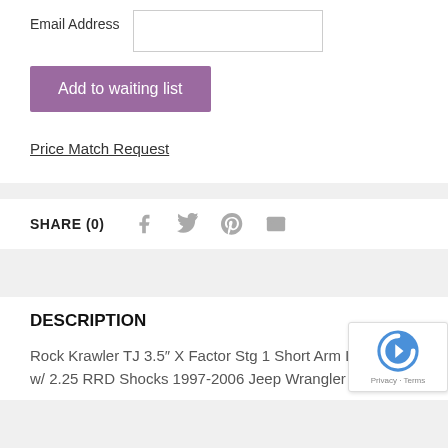Email Address
Add to waiting list
Price Match Request
SHARE (0)
DESCRIPTION
Rock Krawler TJ 3.5" X Factor Stg 1 Short Arm Lif w/ 2.25 RRD Shocks 1997-2006 Jeep Wrangler TJ